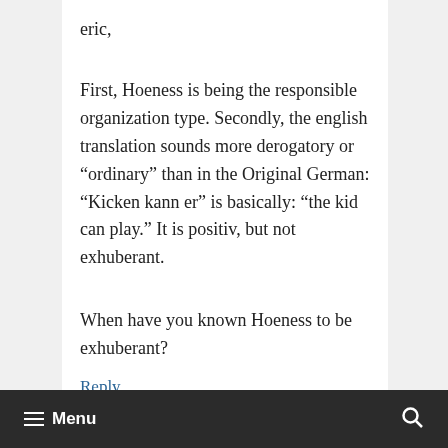eric,
First, Hoeness is being the responsible organization type. Secondly, the english translation sounds more derogatory or "ordinary" than in the Original German: "Kicken kann er" is basically: "the kid can play." It is positiv, but not exhuberant.
When have you known Hoeness to be exhuberant?
Reply
≡ Menu  🔍